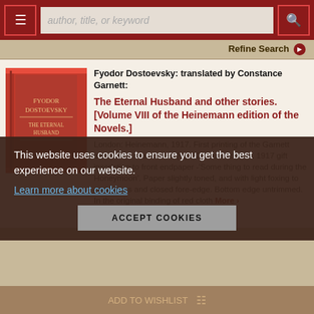[Figure (screenshot): Website navigation bar with menu button, search input placeholder 'author, title, or keyword', and search button]
Refine Search
[Figure (photo): Red hardcover book standing upright on a surface]
Fyodor Dostoevsky: translated by Constance Garnett:
The Eternal Husband and other stories. [Volume VIII of the Heinemann edition of the Novels.]
London: Heinemann, 1917. First printing of the Garnett translation. Hardcover. [vi], 323, +16 adverts. 1917 gift inscription to front endpaper -'Some thing to read during the Honeymoon'. Paper slightly toned, and with light foxing to endpapers and closed fore-edge. Bottom edge untrimmed. In the original binding of red cloth
This website uses cookies to ensure you get the best experience on our website.
Learn more about cookies
ACCEPT COOKIES